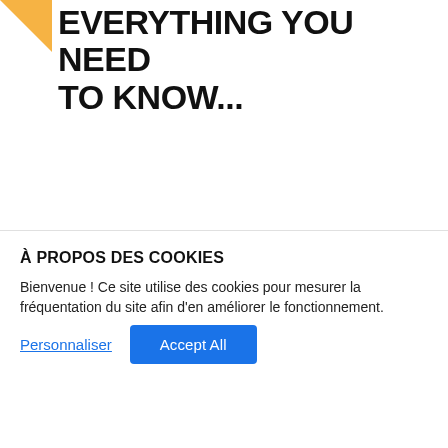[Figure (illustration): Orange geometric shape in top-left corner and light blue cross/plus decorative shapes on the right side]
EVERYTHING YOU NEED TO KNOW...
The Ultimate Guide on How To Patent an Idea
So you've come up with a great invention idea
À PROPOS DES COOKIES
Bienvenue ! Ce site utilise des cookies pour mesurer la fréquentation du site afin d'en améliorer le fonctionnement.
Personnaliser  Accept All